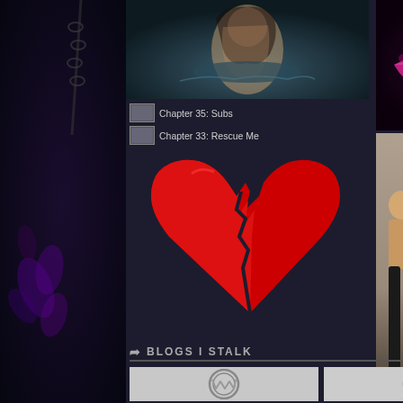[Figure (photo): Left sidebar with dark purple/black fantasy background with chains and purple feathers/flowers]
[Figure (photo): Top left thumbnail: woman in water, dark romantic painting style]
[Figure (photo): Top right thumbnail: close-up of lips with purple/pink lipstick]
Chapter 35: Subs
Chapter 33: Rescue Me
[Figure (illustration): Red broken heart emoji/illustration on dark background]
[Figure (photo): Photo of four shirtless muscular men in dark jeans]
BLOGS I STALK
[Figure (logo): WordPress logo on gray background, left]
[Figure (logo): WordPress logo on gray background, right]
“Do… telli…
“Yo… an… you…
“Yo… this…
I le…
“Ye… all.…
“I d…
No…
“m…